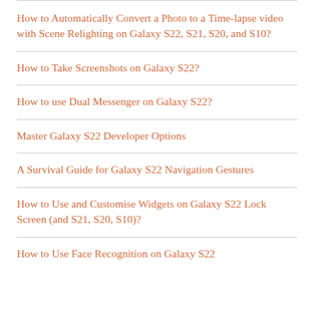How to Automatically Convert a Photo to a Time-lapse video with Scene Relighting on Galaxy S22, S21, S20, and S10?
How to Take Screenshots on Galaxy S22?
How to use Dual Messenger on Galaxy S22?
Master Galaxy S22 Developer Options
A Survival Guide for Galaxy S22 Navigation Gestures
How to Use and Customise Widgets on Galaxy S22 Lock Screen (and S21, S20, S10)?
How to Use Face Recognition on Galaxy S22